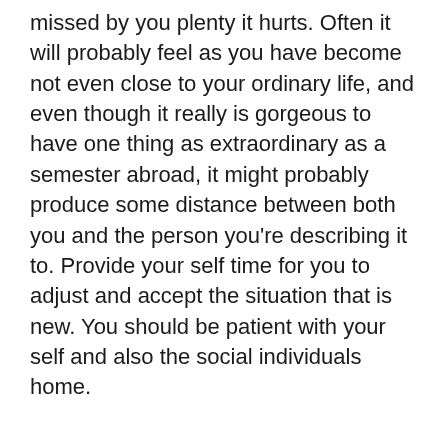missed by you plenty it hurts. Often it will probably feel as you have become not even close to your ordinary life, and even though it really is gorgeous to have one thing as extraordinary as a semester abroad, it might probably produce some distance between both you and the person you're describing it to. Provide your self time for you to adjust and accept the situation that is new. You should be patient with your self and also the social individuals home.
August 25, 2021    admin
Interracialpeoplemeet spotkania